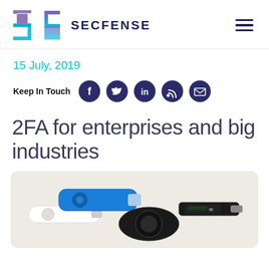SECFENSE
15 July, 2019
Keep In Touch
2FA for enterprises and big industries
[Figure (photo): Photo of multiple hardware security keys (USB 2FA tokens), including blue, white and black YubiKey-style devices with a Secfense-branded black USB key, arranged on a light background.]